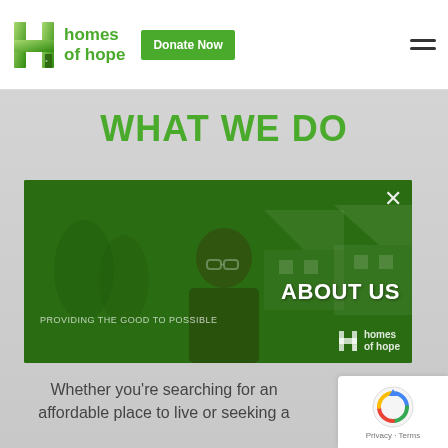[Figure (logo): Homes of Hope logo with green H icon, brand name, and Donate Now button]
WHAT WE DO
[Figure (screenshot): Video thumbnail with green overlay showing a man with glasses in front of houses, overlaid with ABOUT US text and homes of hope branding, and a close (X) button]
Whether you're searching for an affordable place to live or seeking a